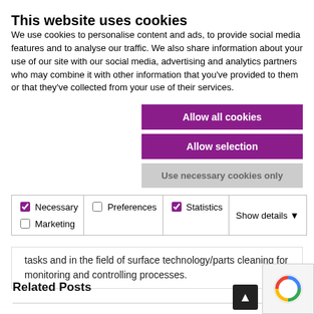This website uses cookies
We use cookies to personalise content and ads, to provide social media features and to analyse our traffic. We also share information about your use of our site with our social media, advertising and analytics partners who may combine it with other information that you've provided to them or that they've collected from your use of their services.
Allow all cookies
Allow selection
Use necessary cookies only
| Necessary | Preferences | Statistics | Show details |
| Marketing |  |  |  |
tasks and in the field of surface technology/parts cleaning for monitoring and controlling processes.
Related Posts